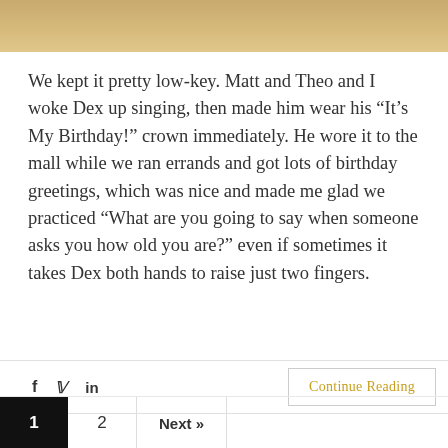[Figure (photo): Top strip of a photo showing a wooden surface or table background, warm golden-brown tones]
We kept it pretty low-key. Matt and Theo and I woke Dex up singing, then made him wear his “It’s My Birthday!” crown immediately. He wore it to the mall while we ran errands and got lots of birthday greetings, which was nice and made me glad we practiced “What are you going to say when someone asks you how old you are?” even if sometimes it takes Dex both hands to raise just two fingers.
f  🐦  in    Continue Reading    1  2  Next »